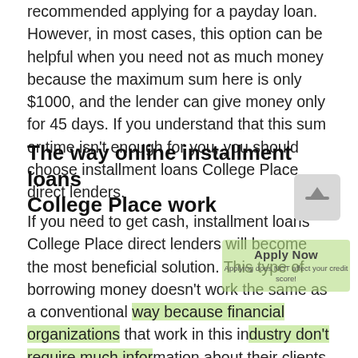recommended applying for a payday loan. However, in most cases, this option can be helpful when you need not as much money because the maximum sum here is only $1000, and the lender can give money only for 45 days. If you understand that this sum or time isn't enough for you, you should choose installment loans College Place direct lenders.
The way online installment loans College Place work
If you need to get cash, installment loans College Place direct lenders will become the most beneficial solution. This type of borrowing money doesn't work the same as a conventional way because financial organizations that work in this industry don't require much information about their clients. Nevertheless, they still allow people who are suffering from a lack of money to borrow installment loans online in College Place of Washington, WA. In this